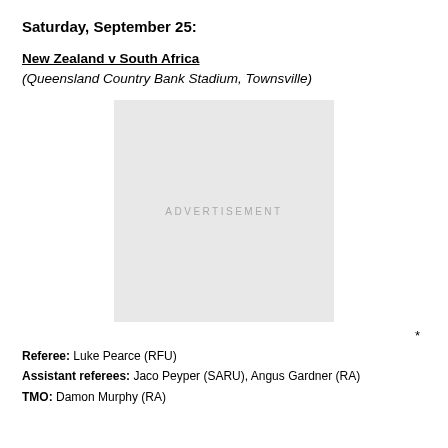Saturday, September 25:
New Zealand v South Africa
(Queensland Country Bank Stadium, Townsville)
[Figure (other): Advertisement placeholder box with grey background and 'ADVERTISEMENT' text]
*
Referee: Luke Pearce (RFU)
Assistant referees: Jaco Peyper (SARU), Angus Gardner (RA)
TMO: Damon Murphy (RA)